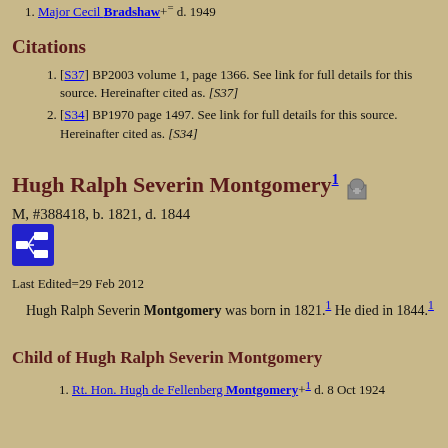1. Major Cecil Bradshaw += d. 1949
Citations
1. [S37] BP2003 volume 1, page 1366. See link for full details for this source. Hereinafter cited as. [S37]
2. [S34] BP1970 page 1497. See link for full details for this source. Hereinafter cited as. [S34]
Hugh Ralph Severin Montgomery1
M, #388418, b. 1821, d. 1844
Last Edited=29 Feb 2012
Hugh Ralph Severin Montgomery was born in 1821.1 He died in 1844.1
Child of Hugh Ralph Severin Montgomery
1. Rt. Hon. Hugh de Fellenberg Montgomery+1 d. 8 Oct 1924